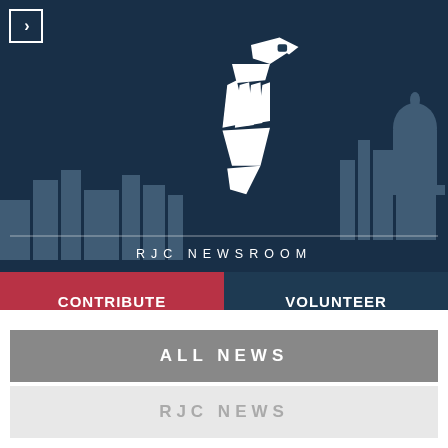[Figure (illustration): RJC eagle logo in white on dark navy blue background with Washington DC cityscape and Capitol building]
RJC NEWSROOM
CONTRIBUTE
VOLUNTEER
ALL NEWS
RJC NEWS